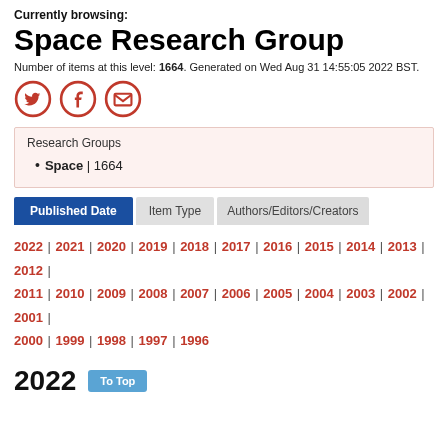Currently browsing:
Space Research Group
Number of items at this level: 1664. Generated on Wed Aug 31 14:55:05 2022 BST.
[Figure (other): Social sharing icons: Twitter, Facebook, Email (orange circle outlines)]
Research Groups
Space | 1664
Published Date | Item Type | Authors/Editors/Creators (tab navigation)
2022 | 2021 | 2020 | 2019 | 2018 | 2017 | 2016 | 2015 | 2014 | 2013 | 2012 | 2011 | 2010 | 2009 | 2008 | 2007 | 2006 | 2005 | 2004 | 2003 | 2002 | 2001 | 2000 | 1999 | 1998 | 1997 | 1996
2022